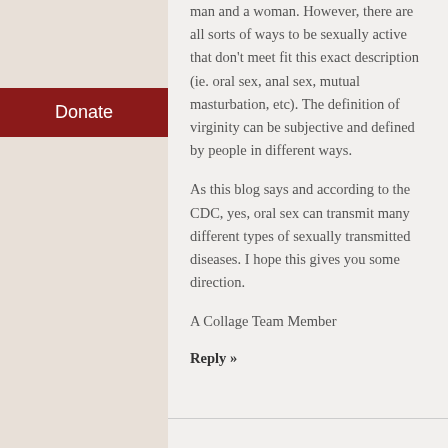Donate
man and a woman. However, there are all sorts of ways to be sexually active that don't meet fit this exact description (ie. oral sex, anal sex, mutual masturbation, etc). The definition of virginity can be subjective and defined by people in different ways.
As this blog says and according to the CDC, yes, oral sex can transmit many different types of sexually transmitted diseases. I hope this gives you some direction.
A Collage Team Member
Reply »